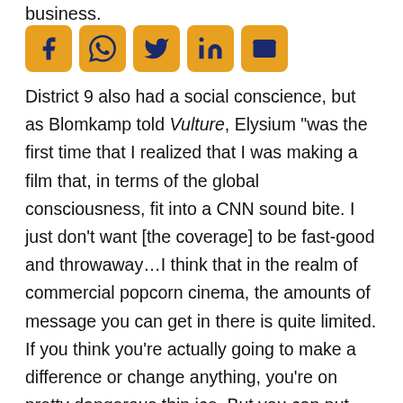business.
[Figure (other): Social media sharing icons: Facebook, WhatsApp, Twitter, LinkedIn, Email — orange rounded square buttons with dark blue icons]
District 9 also had a social conscience, but as Blomkamp told Vulture, Elysium “was the first time that I realized that I was making a film that, in terms of the global consciousness, fit into a CNN sound bite. I just don’t want [the coverage] to be fast-good and throwaway…I think that in the realm of commercial popcorn cinema, the amounts of message you can get in there is quite limited. If you think you’re actually going to make a difference or change anything, you’re on pretty dangerous thin ice. But you can put ideas in there that are real issues that are happening in the world.”